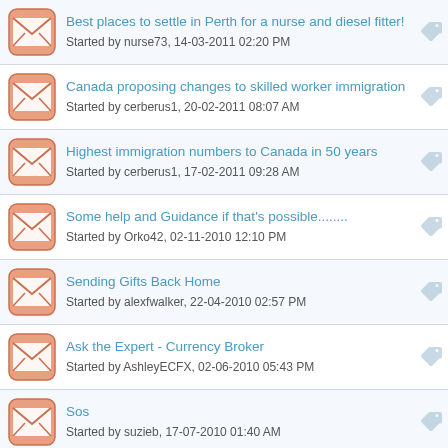Best places to settle in Perth for a nurse and diesel fitter!
Started by nurse73, 14-03-2011 02:20 PM
Canada proposing changes to skilled worker immigration
Started by cerberus1, 20-02-2011 08:07 AM
Highest immigration numbers to Canada in 50 years
Started by cerberus1, 17-02-2011 09:28 AM
Some help and Guidance if that's possible........
Started by Orko42, 02-11-2010 12:10 PM
Sending Gifts Back Home
Started by alexfwalker, 22-04-2010 02:57 PM
Ask the Expert - Currency Broker
Started by AshleyECFX, 02-06-2010 05:43 PM
Sos
Started by suzieb, 17-07-2010 01:40 AM
any British Beauty & Massage Therapists out there??!!!
Started by chicadeb, 14-08-2010 11:20 AM
Importing a car from UK (or member state) to Greece
Started by The Grocer, 30-09-2009 12:27 PM
What type of visa do the need initially?
Started by TheGorgons, 23-10-2009 11:34 AM